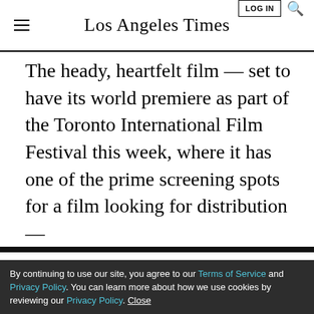Los Angeles Times
The heady, heartfelt film — set to have its world premiere as part of the Toronto International Film Festival this week, where it has one of the prime screening spots for a film looking for distribution —
LIMITED-TIME OFFER
$1 for 6 Months
SUBSCRIBE NOW
By continuing to use our site, you agree to our Terms of Service and Privacy Policy. You can learn more about how we use cookies by reviewing our Privacy Policy. Close